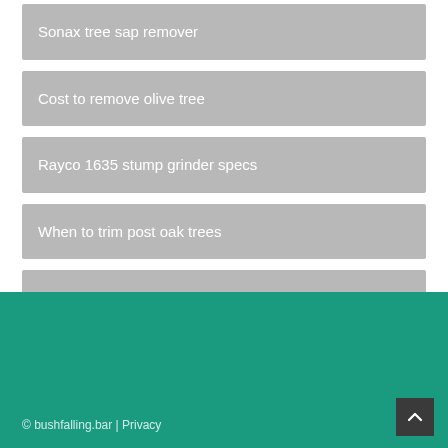Sonax tree sap remover
Cost to remove olive tree
Rayco 1635 stump grinder specs
When to trim post oak trees
Stump removal ocoee fl
© bushfalling.bar | Privacy